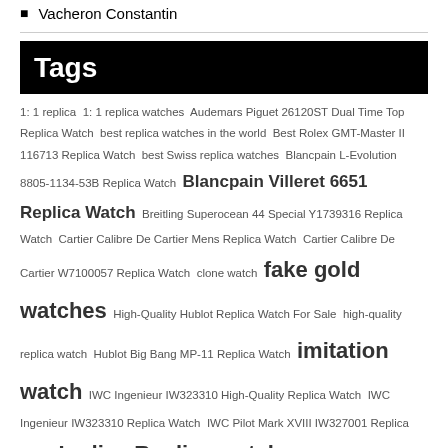Vacheron Constantin
Tags
1: 1 replica 1: 1 replica watches Audemars Piguet 26120ST Dual Time Top Replica Watch best replica watches in the world Best Rolex GMT-Master II 116713 Replica Watch best Swiss replica watches Blancpain L-Evolution 8805-1134-53B Replica Watch Blancpain Villeret 6651 Replica Watch Breitling Superocean 44 Special Y1739316 Replica Watch Cartier Calibre De Cartier Mens Replica Watch Cartier Calibre De Cartier W7100057 Replica Watch clone watch fake gold watches High-Quality Hublot Replica Watch For Sale high-quality replica watch Hublot Big Bang MP-11 Replica Watch imitation watch IWC Ingenieur IW323310 High-Quality Replica Watch IWC Ingenieur IW323310 Replica Watch IWC Pilot Mark XVIII IW327001 Replica Watch Ladies Replica watch Longines Conquest Classic Elegant Mens Replica Watch Longines Symphonette Swiss Replica Female Watch Luxury Piaget Limelight Gala G0A38168 Replica Watch Luxury